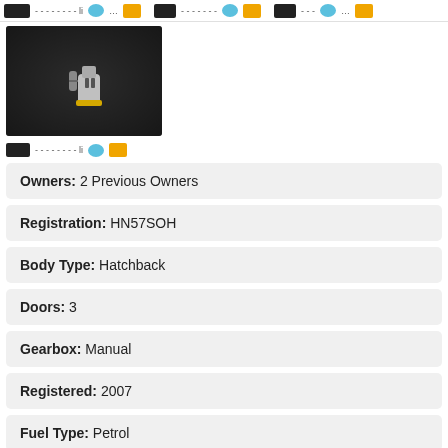navigation bar with icons
[Figure (photo): Car interior showing a charging port or USB port in dark upholstery]
secondary navigation bar with icons
Owners: 2 Previous Owners
Registration: HN57SOH
Body Type: Hatchback
Doors: 3
Gearbox: Manual
Registered: 2007
Fuel Type: Petrol
Mileage: 117021 miles